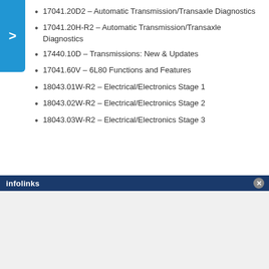17041.20D2 – Automatic Transmission/Transaxle Diagnostics
17041.20H-R2 – Automatic Transmission/Transaxle Diagnostics
17440.10D – Transmissions: New & Updates
17041.60V – 6L80 Functions and Features
18043.01W-R2 – Electrical/Electronics Stage 1
18043.02W-R2 – Electrical/Electronics Stage 2
18043.03W-R2 – Electrical/Electronics Stage 3
In Canada, please review the GM Canada Product Service Training Course Catalogue. Course number 17035.24 will be offered for the 6L80 Automatic Transmission.
infolinks